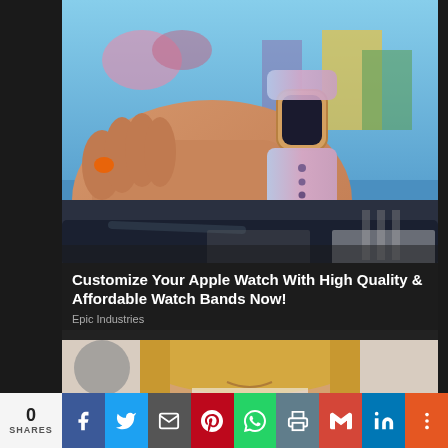[Figure (photo): Close-up photo of a person's wrist wearing an Apple Watch with a light purple/lilac silicone band, outdoors with colorful buildings in background]
Customize Your Apple Watch With High Quality & Affordable Watch Bands Now!
Epic Industries
[Figure (photo): Partial photo of a blonde woman smiling, cropped to show face from chin to forehead]
0 SHARES | Facebook | Twitter | Email | Pinterest | WhatsApp | Print | Gmail | LinkedIn | More